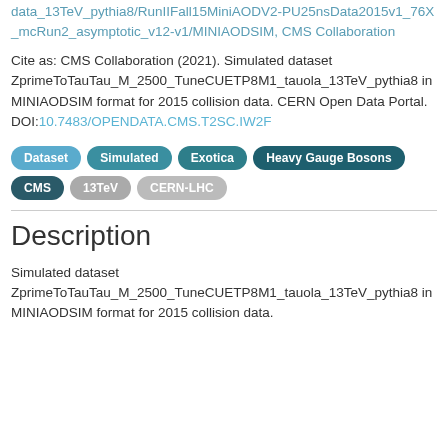data_13TeV_pythia8/RunIIFall15MiniAODV2-PU25nsData2015v1_76X_mcRun2_asymptotic_v12-v1/MINIAODSIM, CMS Collaboration
Cite as: CMS Collaboration (2021). Simulated dataset ZprimeToTauTau_M_2500_TuneCUETP8M1_tauola_13TeV_pythia8 in MINIAODSIM format for 2015 collision data. CERN Open Data Portal. DOI:10.7483/OPENDATA.CMS.T2SC.IW2F
Dataset
Simulated
Exotica
Heavy Gauge Bosons
CMS
13TeV
CERN-LHC
Description
Simulated dataset ZprimeToTauTau_M_2500_TuneCUETP8M1_tauola_13TeV_pythia8 in MINIAODSIM format for 2015 collision data.